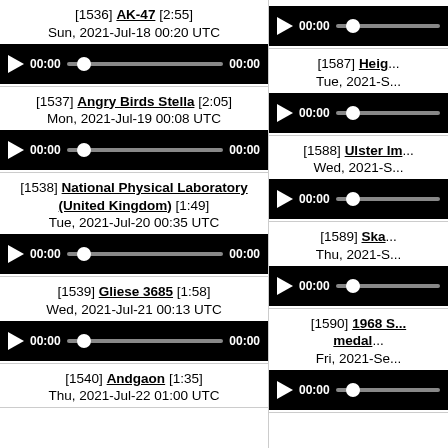[1536] AK-47 [2:55] Sun, 2021-Jul-18 00:20 UTC
[1537] Angry Birds Stella [2:05] Mon, 2021-Jul-19 00:08 UTC
[1538] National Physical Laboratory (United Kingdom) [1:49] Tue, 2021-Jul-20 00:35 UTC
[1539] Gliese 3685 [1:58] Wed, 2021-Jul-21 00:13 UTC
[1540] Andgaon [1:35] Thu, 2021-Jul-22 01:00 UTC
[1587] Heig... Tue, 2021-S...
[1588] Ulster Im... Wed, 2021-S...
[1589] Ska... Thu, 2021-S...
[1590] 1968 S... medal... Fri, 2021-Se...